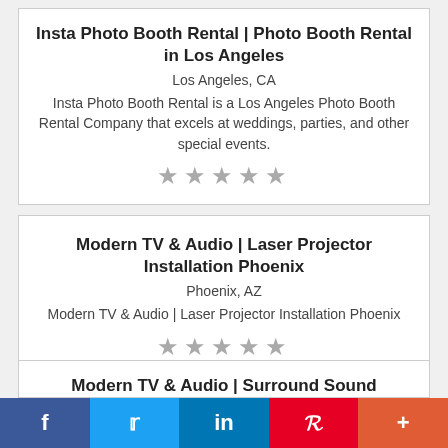Insta Photo Booth Rental | Photo Booth Rental in Los Angeles
Los Angeles, CA
Insta Photo Booth Rental is a Los Angeles Photo Booth Rental Company that excels at weddings, parties, and other special events.
[Figure (other): 5 empty star rating icons]
Modern TV & Audio | Laser Projector Installation Phoenix
Phoenix, AZ
Modern TV & Audio | Laser Projector Installation Phoenix
[Figure (other): 5 empty star rating icons]
Modern TV & Audio | Surround Sound
f  Twitter  in  Pinterest  +